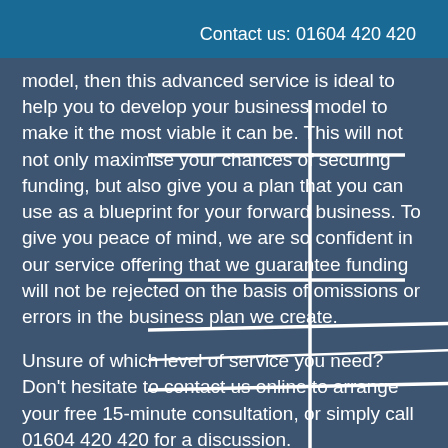Contact us: 01604 420 420
model, then this advanced service is ideal to help you to develop your business model to make it the most viable it can be. This will not not only maximise your chances of securing funding, but also give you a plan that you can use as a blueprint for your forward business. To give you peace of mind, we are so confident in our service offering that we guarantee funding will not be rejected on the basis of omissions or errors in the business plan we create.
Unsure of which level of service you need? Don't hesitate to contact us online to arrange your free 15-minute consultation, or simply call 01604 420 420 for a discussion.